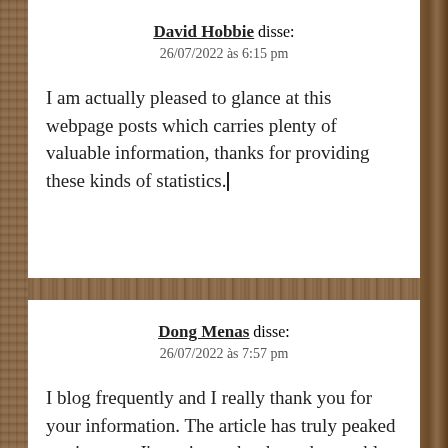David Hobbie disse:
26/07/2022 às 6:15 pm
I am actually pleased to glance at this webpage posts which carries plenty of valuable information, thanks for providing these kinds of statistics. |
Dong Menas disse:
26/07/2022 às 7:57 pm
I blog frequently and I really thank you for your information. The article has truly peaked my interest. I'm going to book mark your blog and keep checking for new information about once a